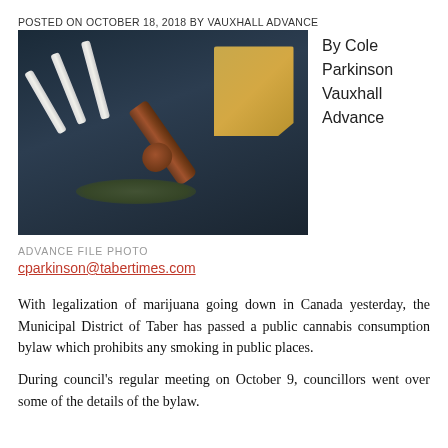POSTED ON OCTOBER 18, 2018 BY VAUXHALL ADVANCE
[Figure (photo): Photo of cannabis paraphernalia including rolled joints, a wooden pipe, a brown paper bag of cannabis, and loose cannabis leaves on a dark surface.]
By Cole Parkinson
Vauxhall Advance
ADVANCE FILE PHOTO
cparkinson@tabertimes.com
With legalization of marijuana going down in Canada yesterday, the Municipal District of Taber has passed a public cannabis consumption bylaw which prohibits any smoking in public places.
During council's regular meeting on October 9, councillors went over some of the details of the bylaw.